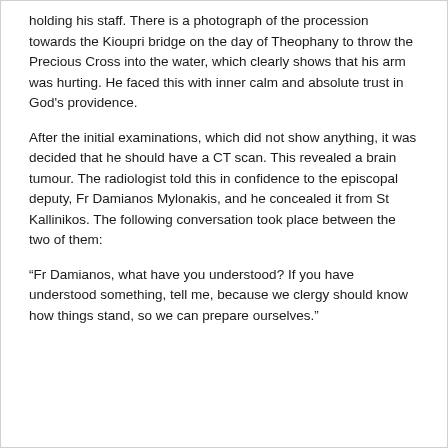holding his staff. There is a photograph of the procession towards the Kioupri bridge on the day of Theophany to throw the Precious Cross into the water, which clearly shows that his arm was hurting. He faced this with inner calm and absolute trust in God's providence.
After the initial examinations, which did not show anything, it was decided that he should have a CT scan. This revealed a brain tumour. The radiologist told this in confidence to the episcopal deputy, Fr Damianos Mylonakis, and he concealed it from St Kallinikos. The following conversation took place between the two of them:
“Fr Damianos, what have you understood? If you have understood something, tell me, because we clergy should know how things stand, so we can prepare ourselves.”